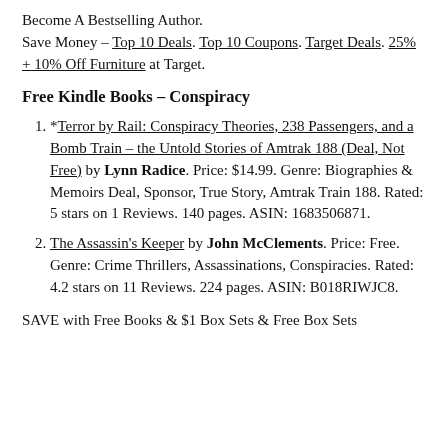Become A Bestselling Author. Save Money – Top 10 Deals. Top 10 Coupons. Target Deals. 25% + 10% Off Furniture at Target.
Free Kindle Books – Conspiracy
*Terror by Rail: Conspiracy Theories, 238 Passengers, and a Bomb Train – the Untold Stories of Amtrak 188 (Deal, Not Free) by Lynn Radice. Price: $14.99. Genre: Biographies & Memoirs Deal, Sponsor, True Story, Amtrak Train 188. Rated: 5 stars on 1 Reviews. 140 pages. ASIN: 1683506871.
The Assassin's Keeper by John McClements. Price: Free. Genre: Crime Thrillers, Assassinations, Conspiracies. Rated: 4.2 stars on 11 Reviews. 224 pages. ASIN: B018RIWJC8.
SAVE with Free Books & $1 Box Sets & Free Box Sets